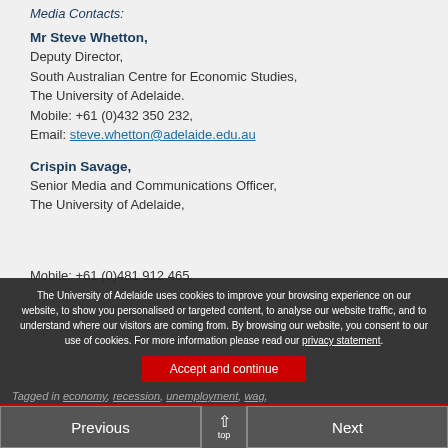Media Contacts:
Mr Steve Whetton,
Deputy Director,
South Australian Centre for Economic Studies,
The University of Adelaide.
Mobile: +61 (0)432 350 232,
Email: steve.whetton@adelaide.edu.au
Crispin Savage,
Senior Media and Communications Officer,
The University of Adelaide,
Mobile: +61 (0)481 912 465,
The University of Adelaide uses cookies to improve your browsing experience on our website, to show you personalised or targeted content, to analyse our website traffic, and to understand where our visitors are coming from. By browsing our website, you consent to our use of cookies. For more information please read our privacy statement.
Tagged in economy, recession, unemployment, wag,
Previous
Next